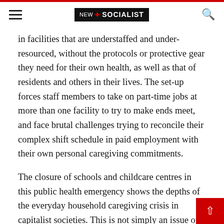new SOCIALIST [logo]
in facilities that are understaffed and under-resourced, without the protocols or protective gear they need for their own health, as well as that of residents and others in their lives. The set-up forces staff members to take on part-time jobs at more than one facility to try to make ends meet, and face brutal challenges trying to reconcile their complex shift schedule in paid employment with their own personal caregiving commitments.
The closure of schools and childcare centres in this public health emergency shows the depths of the everyday household caregiving crisis in capitalist societies. This is not simply an issue of poor caring conditions in underfunded institutions, but also of women struggling to sustain loved ones with inadequate